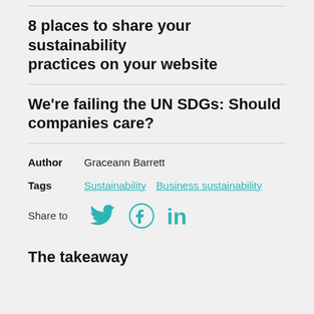8 places to share your sustainability practices on your website
We're failing the UN SDGs: Should companies care?
Author  Graceann Barrett
Tags  Sustainability  Business sustainability
Share to
The takeaway